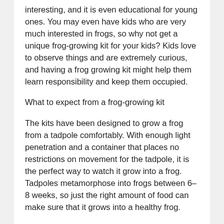interesting, and it is even educational for young ones. You may even have kids who are very much interested in frogs, so why not get a unique frog-growing kit for your kids? Kids love to observe things and are extremely curious, and having a frog growing kit might help them learn responsibility and keep them occupied.
What to expect from a frog-growing kit
The kits have been designed to grow a frog from a tadpole comfortably. With enough light penetration and a container that places no restrictions on movement for the tadpole, it is the perfect way to watch it grow into a frog. Tadpoles metamorphose into frogs between 6–8 weeks, so just the right amount of food can make sure that it grows into a healthy frog.